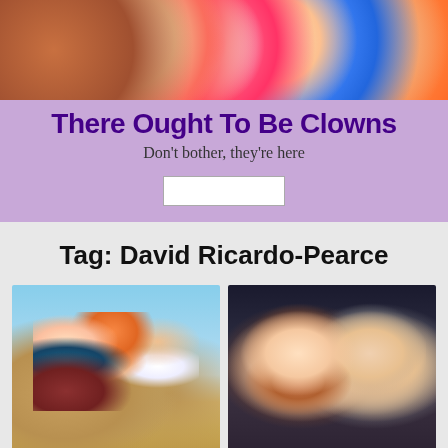[Figure (photo): Banner photo showing multiple colorful clown masks/faces]
There Ought To Be Clowns
Don't bother, they're here
[Figure (other): Search box (white rectangle)]
Tag: David Ricardo-Pearce
[Figure (photo): Children jumping joyfully on a beach/dunes under blue sky]
[Figure (photo): Two women, one younger looking concerned, one older with serious expression, theatrical setting]